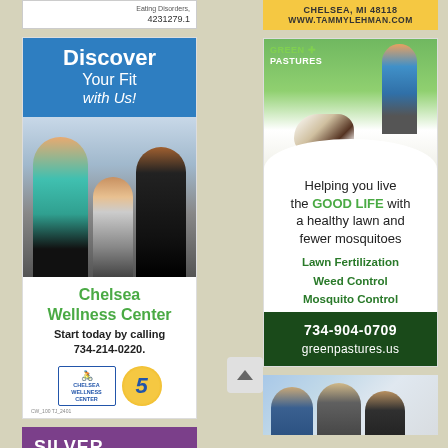[Figure (other): Partial ad fragment showing text 'Eating Disorders,' and phone number 4231279.1]
[Figure (other): Chelsea Wellness Center advertisement. Blue header reads 'Discover Your Fit with Us!' with photo of gym-goers exercising. Text: 'Chelsea Wellness Center – Start today by calling 734-214-0220.' Logos for Chelsea Wellness Center and a 5th anniversary badge.]
[Figure (other): Partial Silver Maples advertisement with purple background and white bold text 'SILVER MAPLES']
[Figure (other): Partial top of Tammy Lehman ad. Gold/yellow background with text 'CHELSEA, MI 48118' and 'WWW.TAMMYLEHMAN.COM']
[Figure (other): Green Pastures lawn care advertisement. Top photo shows child and dog running in field. Logo: 'GREEN + PASTURES'. Text: 'Helping you live the GOOD LIFE with a healthy lawn and fewer mosquitoes'. Services listed: Lawn Fertilization, Weed Control, Mosquito Control. Dark green footer with '734-904-0709' and 'greenpastures.us']
[Figure (photo): Partial bottom-right advertisement showing three men (partial figures) in a photo]